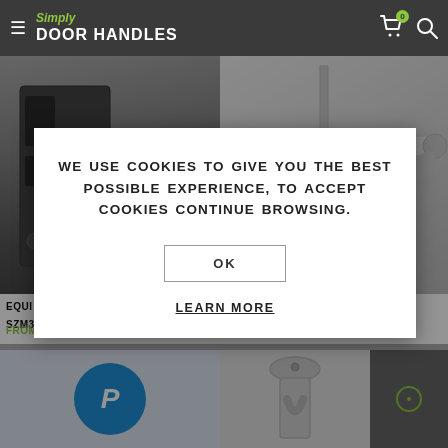[Figure (screenshot): Simply Door Handles website navigation bar with hamburger menu, logo, cart icon with badge '0', and search icon on dark background]
[Figure (photo): Website product listing page showing door handles and lock hardware, partially obscured by cookie consent modal overlay]
WE USE COOKIES TO GIVE YOU THE BEST POSSIBLE EXPERIENCE, TO ACCEPT COOKIES CONTINUE BROWSING.
OK
LEARN MORE
EQUI LAT... SZM372...
FROM £22.60 INC VAT
...NDLES –
FROM £19.75 INC VAT